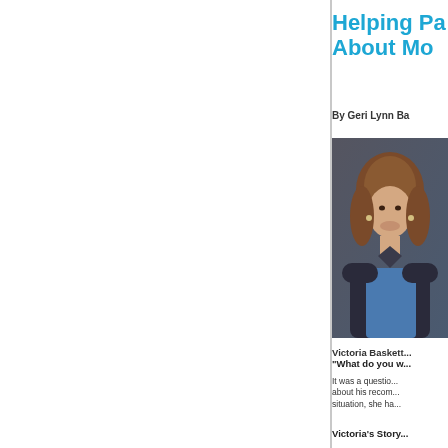Helping Pa... About Mo...
By Geri Lynn Ba...
[Figure (photo): Professional headshot of Victoria Baskette, a woman with brown hair wearing a blue top and dark blazer, smiling against a grey background.]
Victoria Baskett...
“What do you w...
It was a questio... about his recom... situation, she ha...
Victoria's Story...